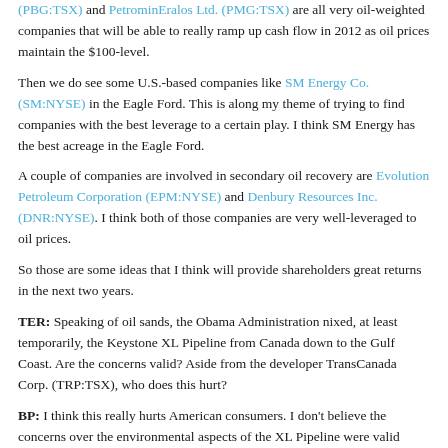(PBG:TSX) and PetrominEralos Ltd. (PMG:TSX) are all very oil-weighted companies that will be able to really ramp up cash flow in 2012 as oil prices maintain the $100-level.
Then we do see some U.S.-based companies like SM Energy Co. (SM:NYSE) in the Eagle Ford. This is along my theme of trying to find companies with the best leverage to a certain play. I think SM Energy has the best acreage in the Eagle Ford.
A couple of companies are involved in secondary oil recovery are Evolution Petroleum Corporation (EPM:NYSE) and Denbury Resources Inc. (DNR:NYSE). I think both of those companies are very well-leveraged to oil prices.
So those are some ideas that I think will provide shareholders great returns in the next two years.
TER: Speaking of oil sands, the Obama Administration nixed, at least temporarily, the Keystone XL Pipeline from Canada down to the Gulf Coast. Are the concerns valid? Aside from the developer TransCanada Corp. (TRP:TSX), who does this hurt?
BP: I think this really hurts American consumers. I don't believe the concerns over the environmental aspects of the XL Pipeline were valid whatsoever. I think this was almost entirely a political maneuver. Right now, the U.S. still imports a substantial amount of production from overseas, and I don't think some of these